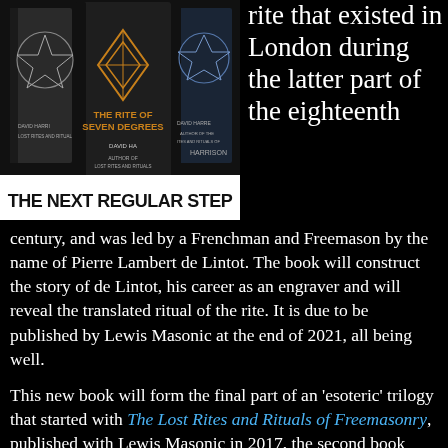[Figure (photo): Book covers of 'The Rite of Seven Degrees' by David Harrison, with white banner below reading 'THE NEXT REGULAR STEP']
rite that existed in London during the latter part of the eighteenth century, and was led by a Frenchman and Freemason by the name of Pierre Lambert de Lintot. The book will construct the story of de Lintot, his career as an engraver and will reveal the translated ritual of the rite. It is due to be published by Lewis Masonic at the end of 2021, all being well.
This new book will form the final part of an 'esoteric' trilogy that started with The Lost Rites and Rituals of Freemasonry, published with Lewis Masonic in 2017, the second book being Rediscovered Rituals of English Freemasonry – a disguised Masonic biography of Richard Carlile and an examination of his high degrees displayed